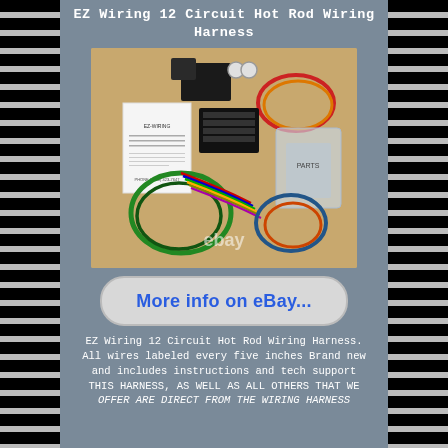EZ Wiring 12 Circuit Hot Rod Wiring Harness
[Figure (photo): EZ Wiring 12 Circuit Hot Rod Wiring Harness product photo showing the wiring kit with colorful wire bundles, fuse block, instruction manual, and accessories laid out on a cardboard surface. eBay watermark visible.]
[Figure (screenshot): Button/banner reading 'More info on eBay...' in blue bold text on a light grey rounded rectangle background.]
EZ Wiring 12 Circuit Hot Rod Wiring Harness. All wires labeled every five inches Brand new and includes instructions and tech support THIS HARNESS, AS WELL AS ALL OTHERS THAT WE OFFER ARE DIRECT FROM THE WIRING HARNESS